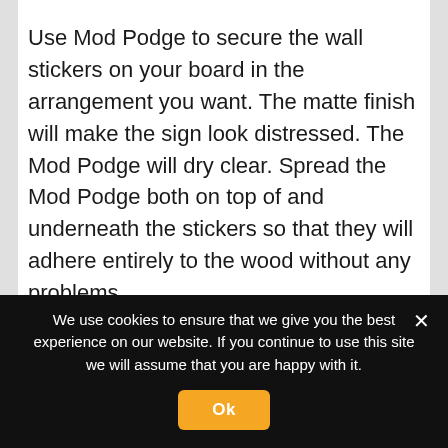Use Mod Podge to secure the wall stickers on your board in the arrangement you want. The matte finish will make the sign look distressed. The Mod Podge will dry clear. Spread the Mod Podge both on top of and underneath the stickers so that they will adhere entirely to the wood without any problems.
Thread the rope through the holes on the
We use cookies to ensure that we give you the best experience on our website. If you continue to use this site we will assume that you are happy with it.